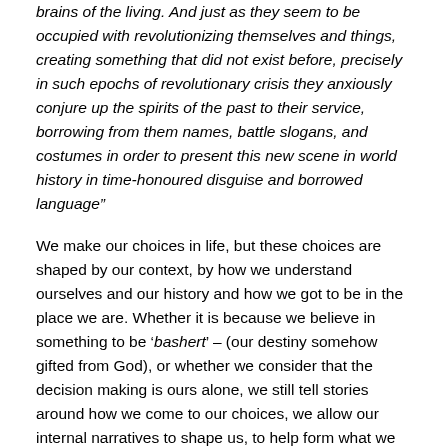brains of the living. And just as they seem to be occupied with revolutionizing themselves and things, creating something that did not exist before, precisely in such epochs of revolutionary crisis they anxiously conjure up the spirits of the past to their service, borrowing from them names, battle slogans, and costumes in order to present this new scene in world history in time-honoured disguise and borrowed language"
We make our choices in life, but these choices are shaped by our context, by how we understand ourselves and our history and how we got to be in the place we are. Whether it is because we believe in something to be ‘bashert’ – (our destiny somehow gifted from God), or whether we consider that the decision making is ours alone, we still tell stories around how we come to our choices, we allow our internal narratives to shape us, to help form what we think